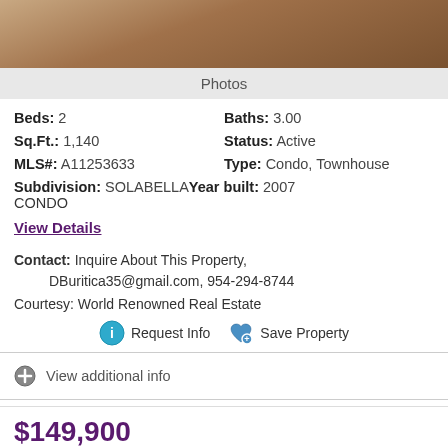[Figure (photo): Interior photo showing wooden/brown toned surface — partial view at top of listing card]
Photos
Beds: 2   Baths: 3.00
Sq.Ft.: 1,140   Status: Active
MLS#: A11253633   Type: Condo, Townhouse
Subdivision: SOLABELLA Year built: 2007 CONDO
View Details
Contact: Inquire About This Property, DBuritica35@gmail.com, 954-294-8744
Courtesy: World Renowned Real Estate
Request Info   Save Property
View additional info
$149,900
15600 NW 7th Ave #412 Miami, FL 33169